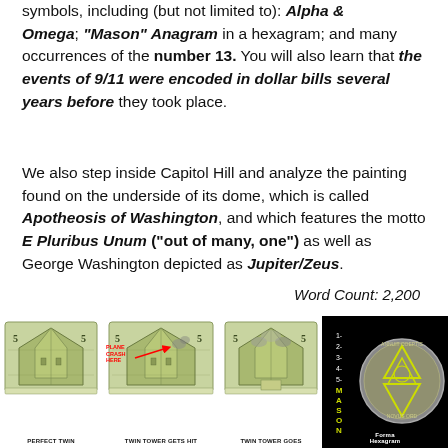symbols, including (but not limited to): Alpha & Omega; "Mason" Anagram in a hexagram; and many occurrences of the number 13. You will also learn that the events of 9/11 were encoded in dollar bills several years before they took place.
We also step inside Capitol Hill and analyze the painting found on the underside of its dome, which is called Apotheosis of Washington, and which features the motto E Pluribus Unum (“out of many, one”) as well as George Washington depicted as Jupiter/Zeus.
Word Count: 2,200
[Figure (photo): Three folded dollar bills showing Twin Tower imagery with captions: PERFECT TWIN, TWIN TOWER GETS HIT (with PLANE CRASH HERE label and red arrow), TWIN TOWER GOES (down). Plus a Masonic hexagram coin image with MASON text and Forma Hexagram label.]